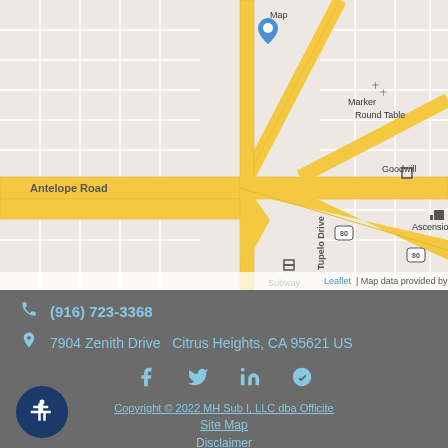[Figure (map): Street map showing area around 7904 Zenith Drive, Citrus Heights, CA. Shows Antelope Road, Zenith Drive, Lichen Drive, Tupelo Drive, Interstate 80, and landmarks including Round Table, Goodwill, Subway, and Ascension. Map marker visible near Zenith Drive. Attribution: Leaflet | Map data provided by Internet Brands.]
(916) 723-3368
7904 Zenith Drive  Citrus Heights, CA 95621 US
[Figure (infographic): Social media icons: Facebook, Twitter, LinkedIn, Yelp]
Copyright © 2022 MH Sub I, LLC dba Officite
Site Map
Disclaimer
[Figure (illustration): Accessibility button - circular dark blue button with white wheelchair/person icon]